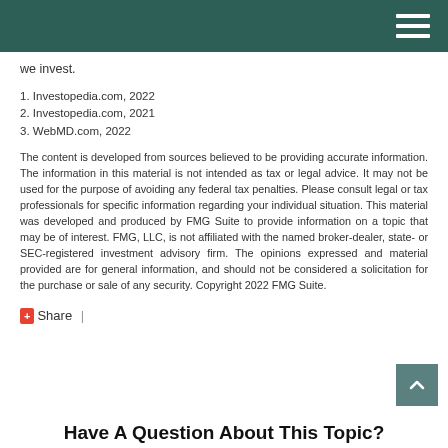we invest.
1. Investopedia.com, 2022
2. Investopedia.com, 2021
3. WebMD.com, 2022
The content is developed from sources believed to be providing accurate information. The information in this material is not intended as tax or legal advice. It may not be used for the purpose of avoiding any federal tax penalties. Please consult legal or tax professionals for specific information regarding your individual situation. This material was developed and produced by FMG Suite to provide information on a topic that may be of interest. FMG, LLC, is not affiliated with the named broker-dealer, state- or SEC-registered investment advisory firm. The opinions expressed and material provided are for general information, and should not be considered a solicitation for the purchase or sale of any security. Copyright 2022 FMG Suite.
Share  |
Have A Question About This Topic?